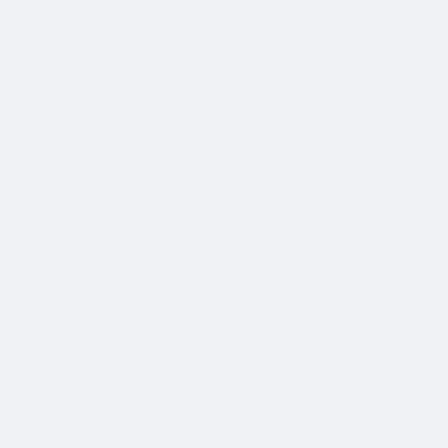Tragaperras, Tragamonedas.
Online Roulette - hollandgokken.com : Poker S
Casinospiele - Bei Kasinozeit.com findest du C Tipps, wo du am besten Poker online spielst
Casinospiele - Bei Kasinozeit.com findest du C Tipps, wo du am besten Poker online spielst
vibr�tory - Obohat'te sv� intimn� chv�le a
st benedict - Most Holy Family Monastery is th Catholicism catholic Bible and Latin Mass.
Pre-settlement Lawsuit Funding - The simplest settlements which provides you non-recourse f
Acne treatment guide - Online acne treatment a acnezine, proactiv and cleapores products onli
Anger Management New York - Self improven Anger Management, Meditation Techniques, S